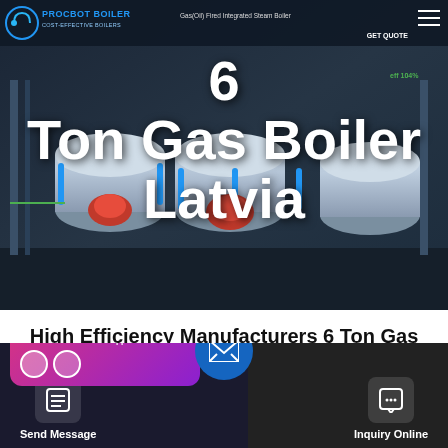[Figure (photo): Hero banner with industrial gas boiler machinery in dark blue background, with company logo (PROCBOT BOILER) and navigation bar at top. Large white title text '6 Ton Gas Boiler Latvia' overlaid on the imagery.]
6 Ton Gas Boiler Latvia
High Efficiency Manufacturers 6 Ton Gas Boiler Latvia
[Figure (screenshot): Bottom action bar with dark background. WhatsApp sticker saver popup card (pink/purple gradient) on left. Center blue circular email/message FAB button. Left action button 'Send Message' with document icon. Right action button 'Inquiry Online' with chat icon.]
Send Message
Inquiry Online